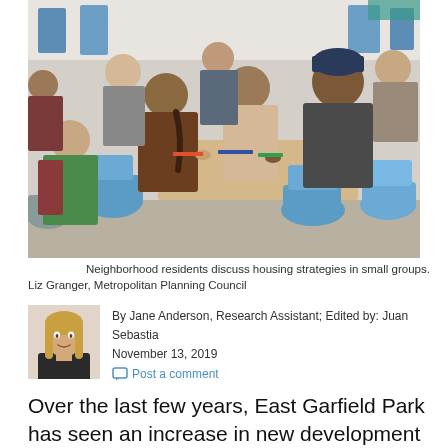[Figure (photo): Neighborhood residents sitting around tables in a room, discussing housing strategies in small groups. The room has blue wall panels and people are engaged in conversation.]
Neighborhood residents discuss housing strategies in small groups. Liz Granger, Metropolitan Planning Council
By Jane Anderson, Research Assistant; Edited by: Juan Sebastia
November 13, 2019
Post a comment
Over the last few years, East Garfield Park has seen an increase in new development and investment, with property prices quadrupling over the past six years. Between 2012 and 2018 the median sale price for one-to-four unit properties increased from $40,000 to